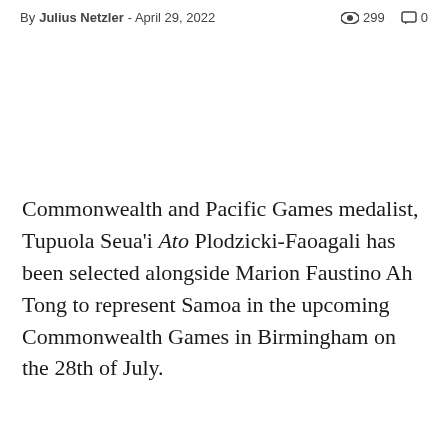By Julius Netzler - April 29, 2022  👁 299  💬 0
[Figure (photo): Empty white image placeholder area]
Commonwealth and Pacific Games medalist, Tupuola Seua'i Ato Plodzicki-Faoagali has been selected alongside Marion Faustino Ah Tong to represent Samoa in the upcoming Commonwealth Games in Birmingham on the 28th of July.